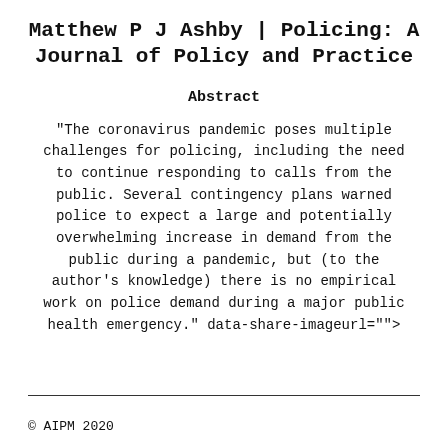Matthew P J Ashby | Policing: A Journal of Policy and Practice
Abstract
"The coronavirus pandemic poses multiple challenges for policing, including the need to continue responding to calls from the public. Several contingency plans warned police to expect a large and potentially overwhelming increase in demand from the public during a pandemic, but (to the author's knowledge) there is no empirical work on police demand during a major public health emergency." data-share-imageurl="">
© AIPM 2020